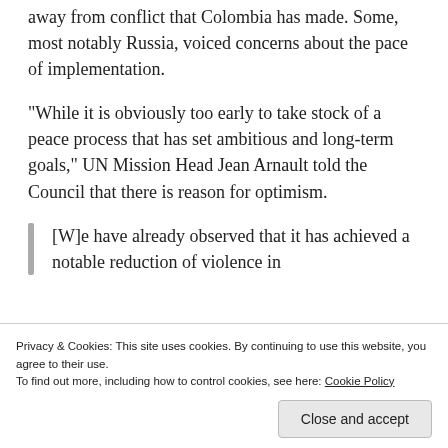away from conflict that Colombia has made. Some, most notably Russia, voiced concerns about the pace of implementation.
“While it is obviously too early to take stock of a peace process that has set ambitious and long-term goals,” UN Mission Head Jean Arnault told the Council that there is reason for optimism.
[W]e have already observed that it has achieved a notable reduction of violence in
Privacy & Cookies: This site uses cookies. By continuing to use this website, you agree to their use. To find out more, including how to control cookies, see here: Cookie Policy
Close and accept